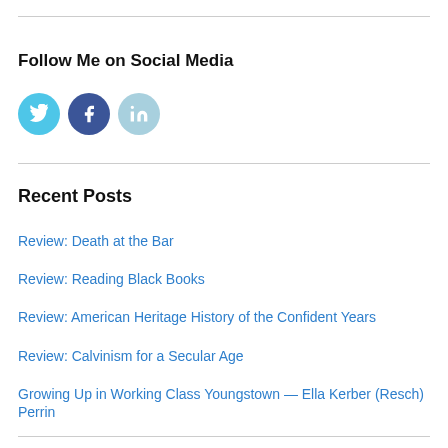Follow Me on Social Media
[Figure (illustration): Three social media icon circles: Twitter (light blue), Facebook (dark blue), LinkedIn (light blue-grey)]
Recent Posts
Review: Death at the Bar
Review: Reading Black Books
Review: American Heritage History of the Confident Years
Review: Calvinism for a Secular Age
Growing Up in Working Class Youngstown — Ella Kerber (Resch) Perrin